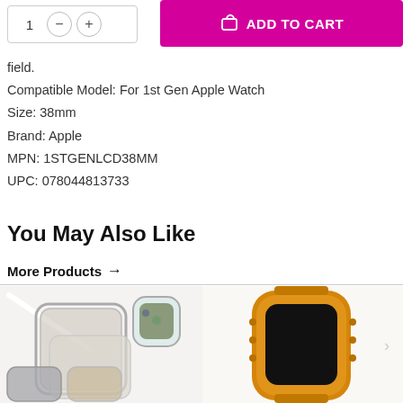[Figure (screenshot): Add to cart UI with quantity selector showing '1' and minus/plus buttons, and a pink 'ADD TO CART' button with shopping bag icon]
field.
Compatible Model: For 1st Gen Apple Watch
Size: 38mm
Brand: Apple
MPN: 1STGENLCD38MM
UPC: 078044813733
You May Also Like
More Products →
[Figure (photo): Two product images side by side: left shows phone cases and an Apple Watch case on a white background; right shows an Apple Watch with orange/gold protective bumper case]